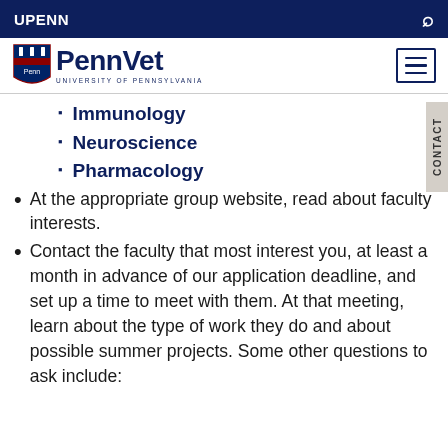UPENN
[Figure (logo): PennVet - University of Pennsylvania logo with shield]
Immunology
Neuroscience
Pharmacology
At the appropriate group website, read about faculty interests.
Contact the faculty that most interest you, at least a month in advance of our application deadline, and set up a time to meet with them. At that meeting, learn about the type of work they do and about possible summer projects. Some other questions to ask include: